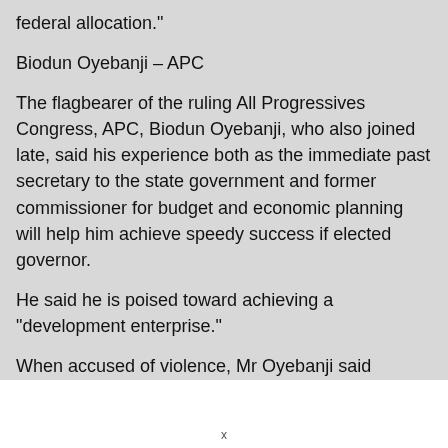federal allocation.”
Biodun Oyebanji – APC
The flagbearer of the ruling All Progressives Congress, APC, Biodun Oyebanji, who also joined late, said his experience both as the immediate past secretary to the state government and former commissioner for budget and economic planning will help him achieve speedy success if elected governor.
He said he is poised toward achieving a “development enterprise.”
When accused of violence, Mr Oyebanji said “Violence will not add anything, we are very much committed to a free and fair electoral process and shall abide by the electoral act and the law."
x